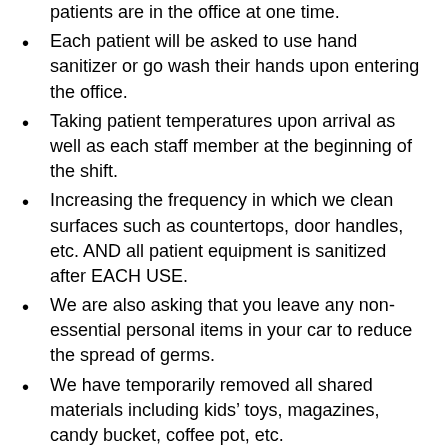patients are in the office at one time.
Each patient will be asked to use hand sanitizer or go wash their hands upon entering the office.
Taking patient temperatures upon arrival as well as each staff member at the beginning of the shift.
Increasing the frequency in which we clean surfaces such as countertops, door handles, etc. AND all patient equipment is sanitized after EACH USE.
We are also asking that you leave any non-essential personal items in your car to reduce the spread of germs.
We have temporarily removed all shared materials including kids’ toys, magazines, candy bucket, coffee pot, etc.
We know this is a fluid set of circumstances and we are constantly